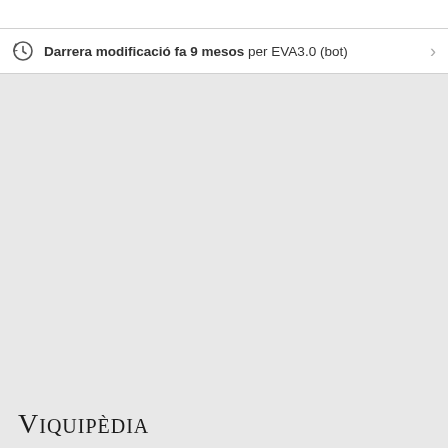Darrera modificació fa 9 mesos per EVA3.0 (bot)
[Figure (logo): Viquipèdia logo text in small-caps serif font at bottom left]